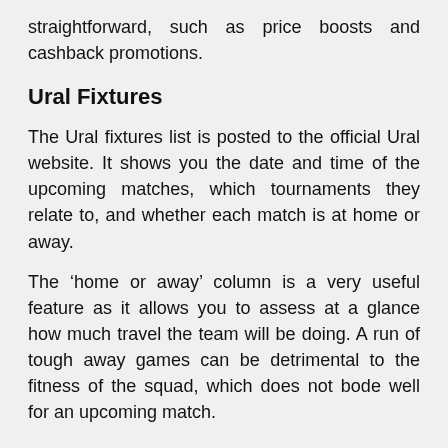straightforward, such as price boosts and cashback promotions.
Ural Fixtures
The Ural fixtures list is posted to the official Ural website. It shows you the date and time of the upcoming matches, which tournaments they relate to, and whether each match is at home or away.
The ‘home or away’ column is a very useful feature as it allows you to assess at a glance how much travel the team will be doing. A run of tough away games can be detrimental to the fitness of the squad, which does not bode well for an upcoming match.
Ural Results